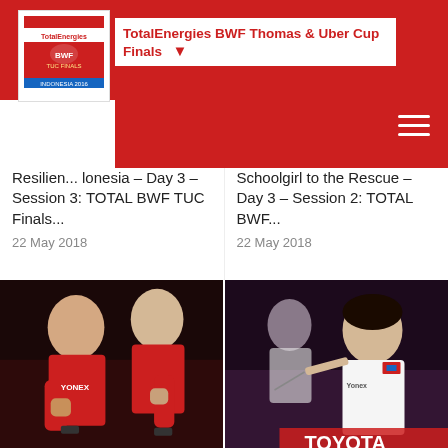TotalEnergies BWF Thomas & Uber Cup Finals
Resilien... lonesia – Day 3 – Session 3: TOTAL BWF TUC Finals...
22 May 2018
Schoolgirl to the Rescue – Day 3 – Session 2: TOTAL BWF...
22 May 2018
[Figure (photo): Two male badminton players in red Yonex shirts celebrating with fist pumps, smiling, dark background, Plan-B branding visible]
[Figure (photo): Female badminton player in white Thai uniform mid-swing, Toyota branding visible in background, another player partially visible]
German Scare for Japan – Day 3 – Session 1: TOTAL BWF...
22 May 2018
China, Thailand Look Ahead – Day 2 – Session 3: TOTAL BWF...
21 May 2018